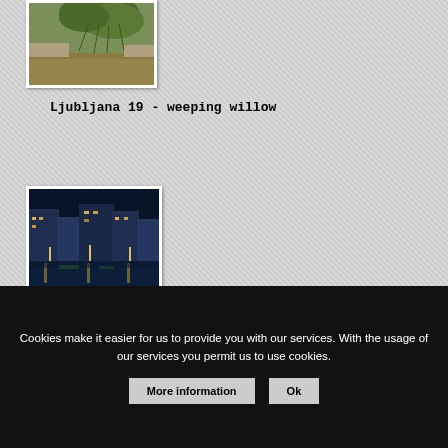[Figure (photo): Photo of Ljubljana canal with weeping willow tree, daytime view with murky greenish water]
Ljubljana 19 - weeping willow
[Figure (photo): Photo of Ljubljana canal at night with city lights reflecting on water, buildings illuminated]
Cookies make it easier for us to provide you with our services. With the usage of our services you permit us to use cookies.
More information
Ok